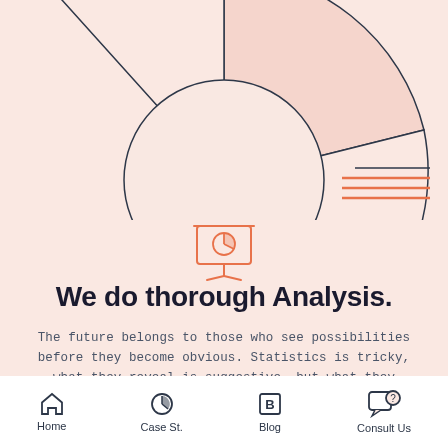[Figure (illustration): Partial pie chart decorative illustration at top with dark outline slices on a light pink background, plus three horizontal orange lines on the right side]
[Figure (illustration): Orange line-art icon of a presentation board with a pie chart on it and a stand/easel]
We do thorough Analysis.
The future belongs to those who see possibilities before they become obvious. Statistics is tricky, what they reveal is suggestive, but what they conceal is vital. We are adept in critical analysis and hedging.
Home   Case St.   Blog   Consult Us